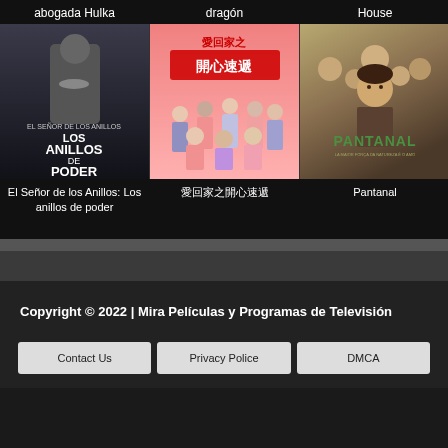abogada Hulka
[Figure (photo): Movie poster for El Señor de los Anillos: Los anillos de poder — dark fantasy imagery with armored hand holding a ring, title text overlay]
dragón
[Figure (photo): Chinese TV show poster with pink background, group of people posing, Chinese title characters at top]
House
[Figure (photo): Movie poster for Pantanal — ensemble cast with a woman in foreground, title PANTANAL in green text]
El Señor de los Anillos: Los anillos de poder
愛回家之開心速遞
Pantanal
Copyright © 2022 | Mira Películas y Programas de Televisión
Contact Us
Privacy Police
DMCA